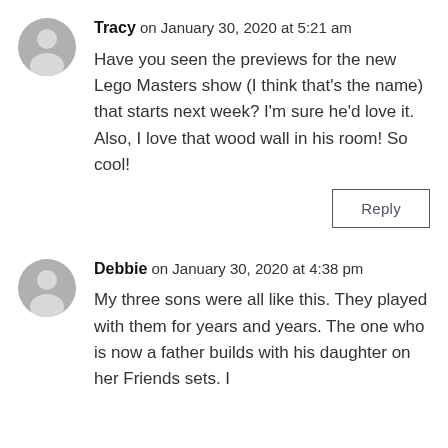Tracy on January 30, 2020 at 5:21 am
Have you seen the previews for the new Lego Masters show (I think that's the name) that starts next week? I'm sure he'd love it. Also, I love that wood wall in his room! So cool!
Reply
Debbie on January 30, 2020 at 4:38 pm
My three sons were all like this. They played with them for years and years. The one who is now a father builds with his daughter on her Friends sets. I